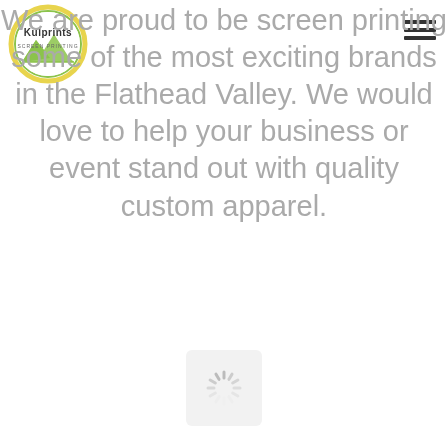[Figure (logo): Kulprints screen printing logo — circular badge with yellow/green border, mountain illustration, and 'Kulprints' text]
We are proud to be screen printing some of the most exciting brands in the Flathead Valley. We would love to help your business or event stand out with quality custom apparel.
[Figure (other): Hamburger menu icon (three horizontal lines)]
[Figure (other): Loading spinner icon — circular dashed spinning indicator in a light grey rounded square]